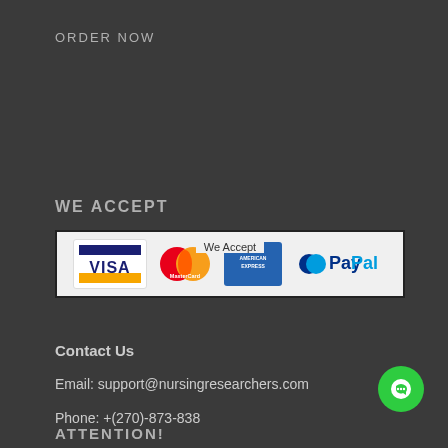ORDER NOW
WE ACCEPT
[Figure (logo): Payment methods banner with Visa, MasterCard, American Express, and PayPal logos inside a bordered box labeled 'We Accept']
Contact Us
Email:  support@nursingresearchers.com
Phone: +(270)-873-838
ATTENTION!